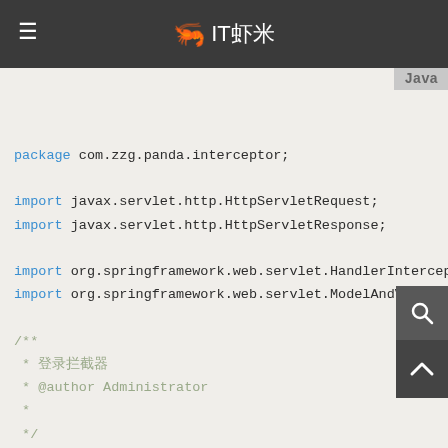IT虾米
[Figure (screenshot): Java code snippet showing CustomerInterceptor class with package declaration, imports, Javadoc comment, class declaration implementing HandlerInterceptor, and afterCompletion method override with System.out.println call.]